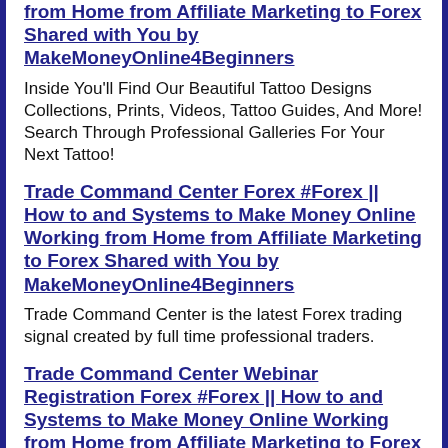from Home from Affiliate Marketing to Forex Shared with You by MakeMoneyOnline4Beginners
Inside You&#039;ll Find Our Beautiful Tattoo Designs Collections, Prints, Videos, Tattoo Guides, And More! Search Through Professional Galleries For Your Next Tattoo!
Trade Command Center Forex #Forex || How to and Systems to Make Money Online Working from Home from Affiliate Marketing to Forex Shared with You by MakeMoneyOnline4Beginners
Trade Command Center is the latest Forex trading signal created by full time professional traders.
Trade Command Center Webinar Registration Forex #Forex || How to and Systems to Make Money Online Working from Home from Affiliate Marketing to Forex Shared with You by MakeMoneyOnline4Beginners